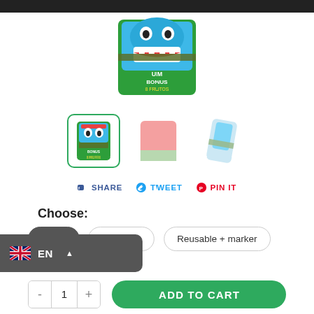[Figure (photo): Top black navigation bar]
[Figure (photo): Main product image: colorful gum/candy package with monster character, blue and green design, text 'UM BONUS 8 FRUTOS', wrapped with an olive-green elastic band]
[Figure (photo): Three product thumbnails: first (active/selected) shows front of the package with green border, second shows pink/salmon back of package, third shows package at an angle]
SHARE   TWEET   PIN IT
Choose:
Paper   Reusable   Reusable + marker
[Figure (other): Language selector overlay showing UK flag and 'EN' text on a dark background with dropdown arrow]
- 1 +   ADD TO CART